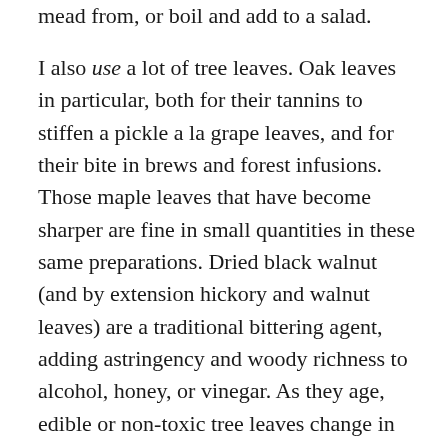mead from, or boil and add to a salad.
I also use a lot of tree leaves. Oak leaves in particular, both for their tannins to stiffen a pickle a la grape leaves, and for their bite in brews and forest infusions. Those maple leaves that have become sharper are fine in small quantities in these same preparations. Dried black walnut (and by extension hickory and walnut leaves) are a traditional bittering agent, adding astringency and woody richness to alcohol, honey, or vinegar. As they age, edible or non-toxic tree leaves change in character, appearance and flavor. These intriguing elements can be used in the kitchen, but only once you have ascertained which leaves are